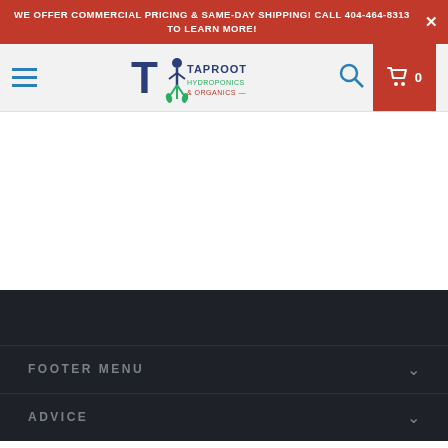WE OFFER COMMERCIAL PRICING & SAME-DAY SHIPPING! CALL 404-464-8313 TO LEARN MORE!
[Figure (logo): Taproot Hydroponics & Organics logo with stylized T and root graphic]
FOOTER MENU
ADVICE